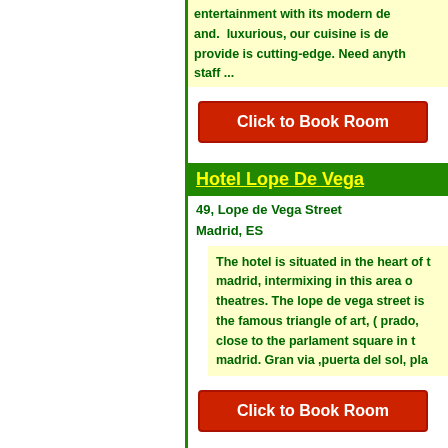entertainment with its modern de and. luxurious, our cuisine is de provide is cutting-edge. Need anyt staff ...
Click to Book Room
Hotel Lope De Vega
49, Lope de Vega Street
Madrid, ES
The hotel is situated in the heart of t madrid, intermixing in this area o theatres. The lope de vega street is the famous triangle of art, ( prado, close to the parlament square in t madrid. Gran via ,puerta del sol, pla
Click to Book Room
Express By Holiday Inn Madrid-Al
CRTA.FUENCARRAL (M-603) KM 15
Madrid, ES